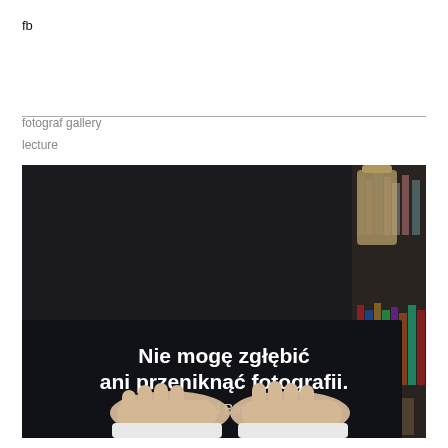fb
fotograf gallery
lecture
[Figure (photo): A dark background photograph showing two hands placed on an open black book. White text on the book reads 'Nie mogę zgłębić ani przeniknąć fotografii.' with 'Roland Barthes' partially visible below. A bookshelf is visible in the background on the right side.]